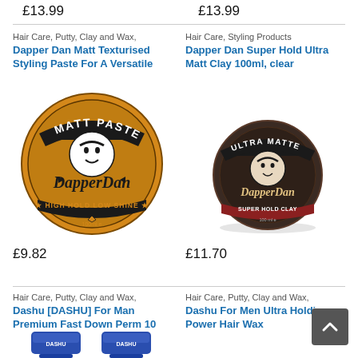£13.99
£13.99
Hair Care, Putty, Clay and Wax,
Dapper Dan Matt Texturised Styling Paste For A Versatile
[Figure (photo): Circular tin of Dapper Dan Matt Paste, gold/orange colour, HIGH HOLD LOW SHINE, 100ml]
£9.82
Hair Care, Styling Products
Dapper Dan Super Hold Ultra Matt Clay 100ml, clear
[Figure (photo): Circular tin of Dapper Dan Ultra Matte Super Hold Clay, dark grey/brown colour]
£11.70
Hair Care, Putty, Clay and Wax,
Dashu [DASHU] For Man Premium Fast Down Perm 10
[Figure (photo): Two blue Dashu hair product tubes]
Hair Care, Putty, Clay and Wax,
Dashu For Men Ultra Holding Power Hair Wax